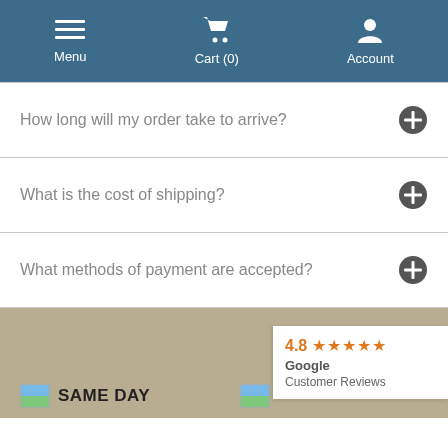Menu  Cart (0)  Account
How long will my order take to arrive?
What is the cost of shipping?
What methods of payment are accepted?
SAME DAY
4.8 ★★★★★ Google Customer Reviews